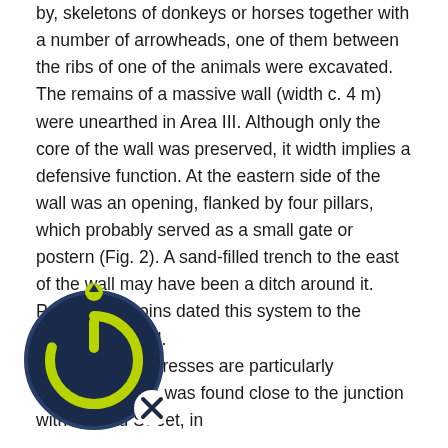by, skeletons of donkeys or horses together with a number of arrowheads, one of them between the ribs of one of the animals were excavated. The remains of a massive wall (width c. 4 m) were unearthed in Area III. Although only the core of the wall was preserved, it width implies a defensive function. At the eastern side of the wall was an opening, flanked by four pillars, which probably served as a small gate or postern (Fig. 2). A sand-filled trench to the east of the wall may have been a ditch around it. Pottery and coins dated this system to the Crusader period. …presses are particularly interesting. One was found close to the junction with 'Ami'ad Street, in